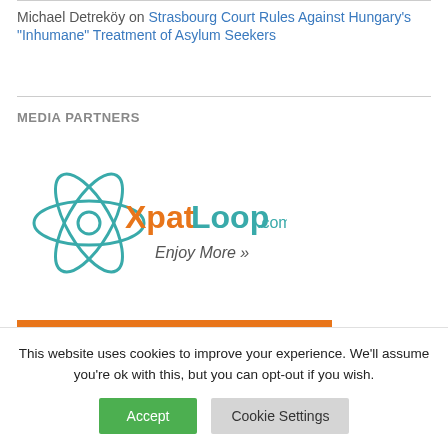Michael Detreköy on Strasbourg Court Rules Against Hungary's "Inhumane" Treatment of Asylum Seekers
MEDIA PARTNERS
[Figure (logo): XpatLoop.com Enjoy More logo with teal atom/orbit graphic]
[Figure (other): Orange banner reading: Hungary's Leading Expat Media]
This website uses cookies to improve your experience. We'll assume you're ok with this, but you can opt-out if you wish.